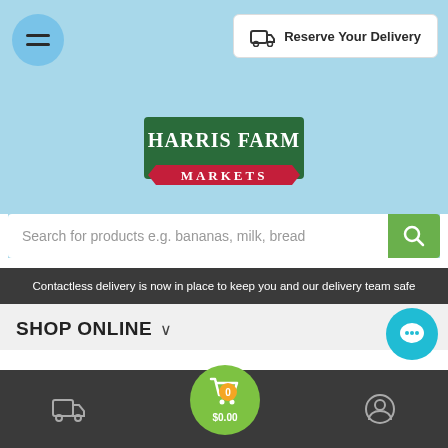[Figure (screenshot): Harris Farm Markets website screenshot showing navigation, logo, search bar, breadcrumb, and bottom navigation bar]
Reserve Your Delivery
[Figure (logo): Harris Farm Markets logo - green rectangle with red ribbon banner]
Search for products e.g. bananas, milk, bread
Contactless delivery is now in place to keep you and our delivery team safe
SHOP ONLINE
Home / Collections / Mozzarella, Mascarpone & Ricotta Cheese / Mozzarella - Brancourts Prepacked (250g)
$0.00